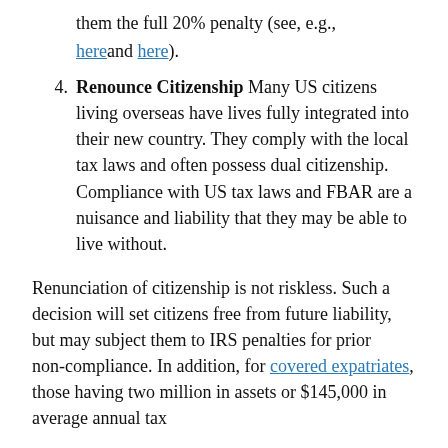them the full 20% penalty (see, e.g., here and here).
4. Renounce Citizenship Many US citizens living overseas have lives fully integrated into their new country. They comply with the local tax laws and often possess dual citizenship. Compliance with US tax laws and FBAR are a nuisance and liability that they may be able to live without.
Renunciation of citizenship is not riskless. Such a decision will set citizens free from future liability, but may subject them to IRS penalties for prior non-compliance. In addition, for covered expatriates, those having two million in assets or $145,000 in average annual tax